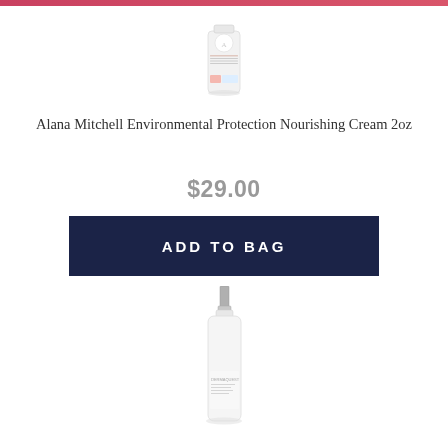[Figure (photo): Product photo of Alana Mitchell Environmental Protection Nourishing Cream bottle, white cylindrical bottle with label]
Alana Mitchell Environmental Protection Nourishing Cream 2oz
$29.00
ADD TO BAG
[Figure (photo): Product photo of DermaQuest white lotion bottle with silver pump cap]